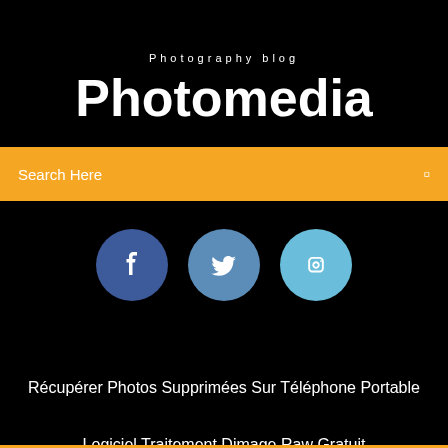Photography blog
Photomedia
Search Here
[Figure (infographic): Three social media icon circles: Facebook (dark blue), Twitter (medium blue), Instagram (light blue)]
Récupérer Photos Supprimées Sur Téléphone Portable
Logiciel Traitement Dimage Raw Gratuit
Descargar Driver Generic Bluetooth Adapter Windows 7
Telecharger Javascript Windows 10 Gratuitement